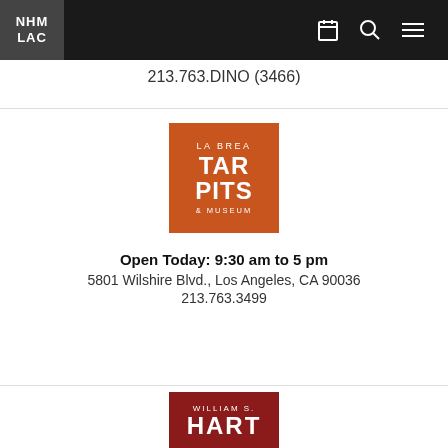NHM LAC
213.763.DINO (3466)
[Figure (logo): La Brea Tar Pits & Museum logo — orange square with white text reading LA BREA TAR PITS & MUSEUM]
Open Today: 9:30 am to 5 pm
5801 Wilshire Blvd., Los Angeles, CA 90036
213.763.3499
[Figure (logo): William S. Hart museum logo — dark red square with white text reading WILLIAM S. HART (partial)]